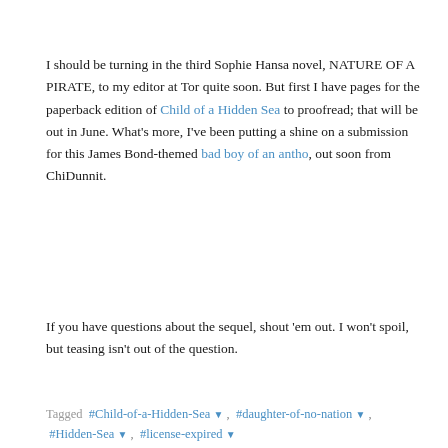I should be turning in the third Sophie Hansa novel, NATURE OF A PIRATE, to my editor at Tor quite soon. But first I have pages for the paperback edition of Child of a Hidden Sea to proofread; that will be out in June. What's more, I've been putting a shine on a submission for this James Bond-themed bad boy of an antho, out soon from ChiDunnit.
If you have questions about the sequel, shout 'em out. I won't spoil, but teasing isn't out of the question.
Tagged  #Child-of-a-Hidden-Sea ▼ ,  #daughter-of-no-nation ▼ ,  #Hidden-Sea ▼ ,  #license-expired ▼
[Figure (photo): Thumbnail image with a pushpin icon at top and a partially visible photo below]